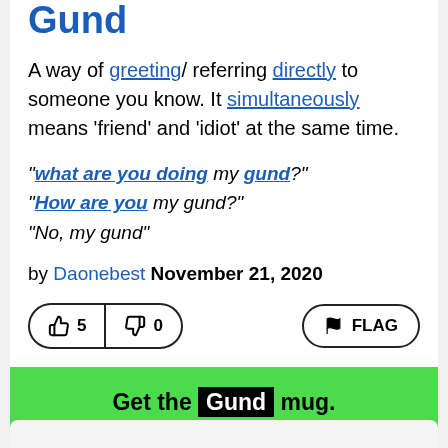Gund
A way of greeting/ referring directly to someone you know. It simultaneously means 'friend' and 'idiot' at the same time.
"what are you doing my gund?"
"How are you my gund?"
"No, my gund"
by Daonebest November 21, 2020
[Figure (other): Voting buttons showing thumbs up with count 5, thumbs down with count 0, and a FLAG button]
Get the Gund mug.